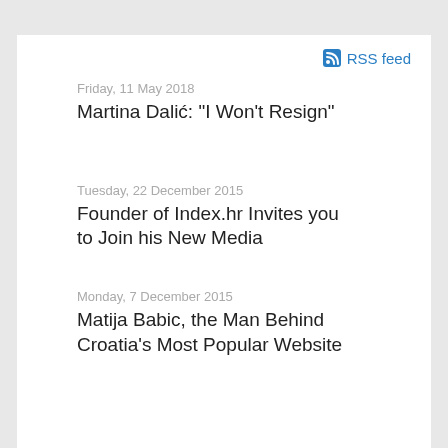RSS feed
Friday, 11 May 2018
Martina Dalić: "I Won't Resign"
Tuesday, 22 December 2015
Founder of Index.hr Invites you to Join his New Media
Monday, 7 December 2015
Matija Babic, the Man Behind Croatia's Most Popular Website